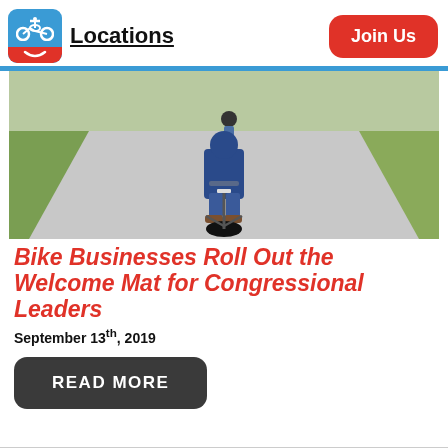Locations | Join Us
[Figure (photo): Person riding a bicycle away from camera on a paved path with grass on both sides]
Bike Businesses Roll Out the Welcome Mat for Congressional Leaders
September 13th, 2019
READ MORE